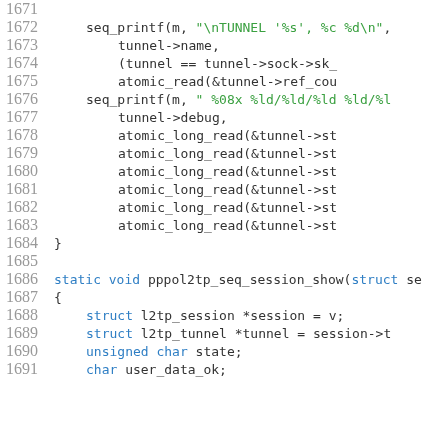Source code listing lines 1671-1691 showing C kernel code with seq_printf calls and pppol2tp_seq_session_show function definition